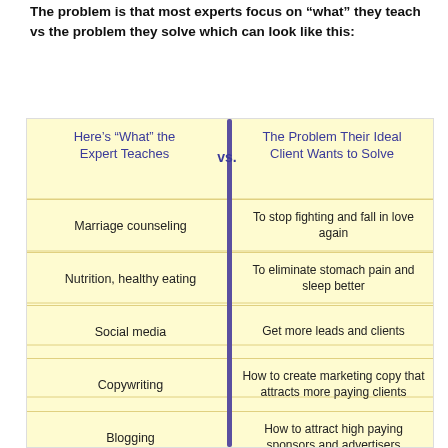The problem is that most experts focus on “what” they teach vs the problem they solve which can look like this:
[Figure (table-as-image): Notepad-style comparison table showing 'Here's "What" the Expert Teaches' vs 'The Problem Their Ideal Client Wants to Solve'. Rows: Marriage counseling / To stop fighting and fall in love again; Nutrition, healthy eating / To eliminate stomach pain and sleep better; Social media / Get more leads and clients; Copywriting / How to create marketing copy that attracts more paying clients; Blogging / How to attract high paying sponsors and advertisers; Insert your expertise here / Insert the problem you can...]